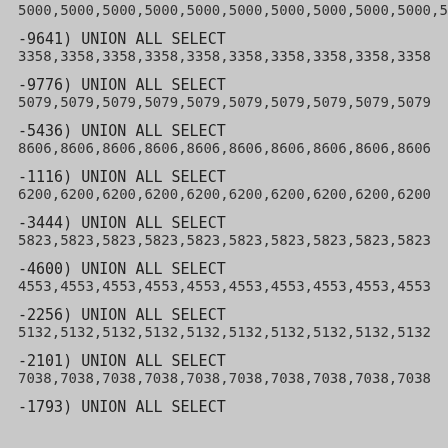5000,5000,5000,5000,5000,5000,5000,5000,5000,5000,5000,5000,
-9641) UNION ALL SELECT
3358,3358,3358,3358,3358,3358,3358,3358,3358,3358,3358,3358,
-9776) UNION ALL SELECT
5079,5079,5079,5079,5079,5079,5079,5079,5079,5079,5079,5079,
-5436) UNION ALL SELECT
8606,8606,8606,8606,8606,8606,8606,8606,8606,8606,8606,8606,
-1116) UNION ALL SELECT
6200,6200,6200,6200,6200,6200,6200,6200,6200,6200,6200,6200,
-3444) UNION ALL SELECT
5823,5823,5823,5823,5823,5823,5823,5823,5823,5823,5823,5823,
-4600) UNION ALL SELECT
4553,4553,4553,4553,4553,4553,4553,4553,4553,4553,4553,4553,
-2256) UNION ALL SELECT
5132,5132,5132,5132,5132,5132,5132,5132,5132,5132,5132,5132,
-2101) UNION ALL SELECT
7038,7038,7038,7038,7038,7038,7038,7038,7038,7038,7038,7038,
-1793) UNION ALL SELECT